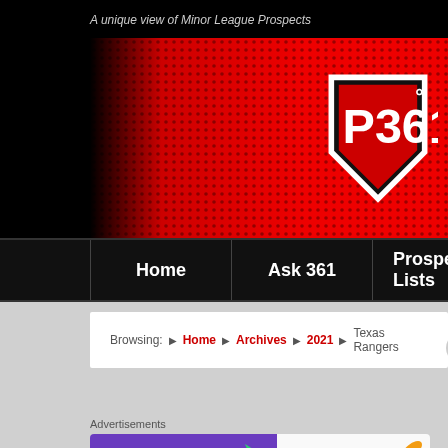A unique view of Minor League Prospects
[Figure (logo): P361 degrees logo on red halftone banner background]
Home | Ask 361 | Prospect Lists | A...
Browsing: > Home > Archives > 2021 > Texas Rangers
Advertisements
[Figure (illustration): WooCommerce advertisement banner: How to start selling subscriptions online]